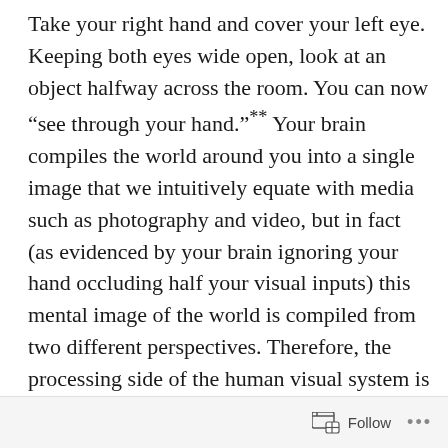Take your right hand and cover your left eye. Keeping both eyes wide open, look at an object halfway across the room. You can now “see through your hand.”** Your brain compiles the world around you into a single image that we intuitively equate with media such as photography and video, but in fact (as evidenced by your brain ignoring your hand occluding half your visual inputs) this mental image of the world is compiled from two different perspectives. Therefore, the processing side of the human visual system is very well set up to interpret sterographic images. Some people complain about this but you can always file a bug report with reality if it
Follow ...